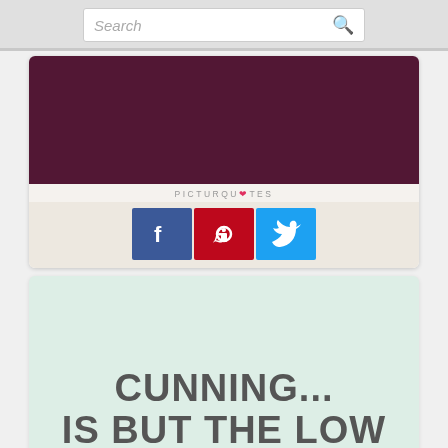[Figure (screenshot): Search bar with text 'Search' and a magnifying glass icon]
[Figure (infographic): Quote card with dark maroon/purple background image area, PICTUREQUOTES brand label with heart, and social share buttons for Facebook, Pinterest, and Twitter]
[Figure (infographic): Quote card with light mint/teal background showing text 'CUNNING... IS BUT THE LOW' in large bold dark gray uppercase letters]